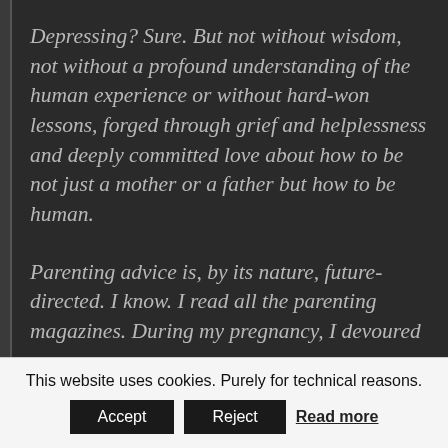Depressing? Sure. But not without wisdom, not without a profound understanding of the human experience or without hard-won lessons, forged through grief and helplessness and deeply committed love about how to be not just a mother or a father but how to be human.
Parenting advice is, by its nature, future-directed. I know. I read all the parenting magazines. During my pregnancy, I devoured
This website uses cookies. Purely for technical reasons. Accept Reject Read more